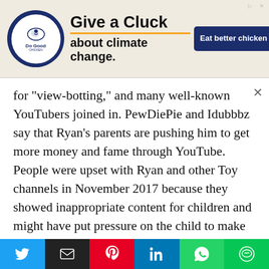[Figure (other): Advertisement banner: 'Give a Cluck about climate change. Eat better chicken.' with Do Good logo]
for "view-botting," and many well-known YouTubers joined in. PewDiePie and Idubbbz say that Ryan's parents are pushing him to get more money and fame through YouTube. People were upset with Ryan and other Toy channels in November 2017 because they showed inappropriate content for children and might have put pressure on the child to make content, as Philip DeFranco, who has his own son, said. Phil later talked to the parents, and he now supports the channel loudly.
As a result of the backlash, YouTube removed more
[Figure (other): Social share bar with buttons: Twitter, Email, Pinterest, LinkedIn, WhatsApp, Line]